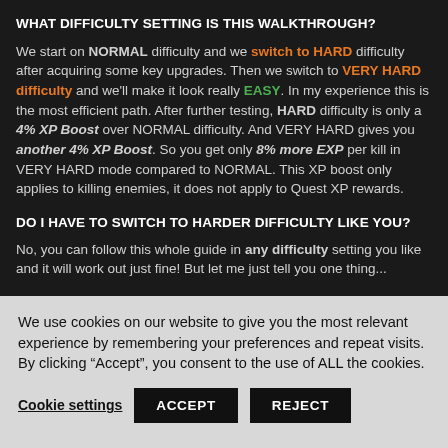WHAT DIFFICULTY SETTING IS THIS WALKTHROUGH?
We start on NORMAL difficulty and we switch to HARD difficulty after acquiring some key upgrades. Then we switch to VERY HARD difficulty and we'll make it look really EASY. In my experience this is the most efficient path. After further testing, HARD difficulty is only a 4% XP Boost over NORMAL difficulty. And VERY HARD gives you another 4% XP Boost. So you get only 8% more EXP per kill in VERY HARD mode compared to NORMAL. This XP boost only applies to killing enemies, it does not apply to Quest XP rewards.
DO I HAVE TO SWITCH TO HARDER DIFFICULTY LIKE YOU?
No, you can follow this whole guide in any difficulty setting you like and it will work out just fine! But let me just tell you one thing...
We use cookies on our website to give you the most relevant experience by remembering your preferences and repeat visits. By clicking “Accept”, you consent to the use of ALL the cookies.